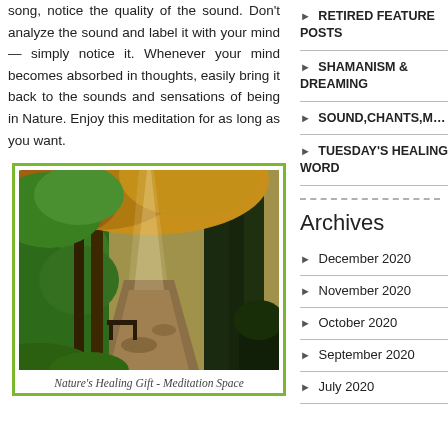song, notice the quality of the sound. Don't analyze the sound and label it with your mind — simply notice it. Whenever your mind becomes absorbed in thoughts, easily bring it back to the sounds and sensations of being in Nature. Enjoy this meditation for as long as you want.
[Figure (photo): A sunlit forest path with autumn trees, green foliage, and dappled light filtering through the canopy.]
Nature's Healing Gift - Meditation Space
RETIRED FEATURE POSTS
SHAMANISM & DREAMING
SOUND,CHANTS,M…
TUESDAY'S HEALING WORD
Archives
December 2020
November 2020
October 2020
September 2020
July 2020